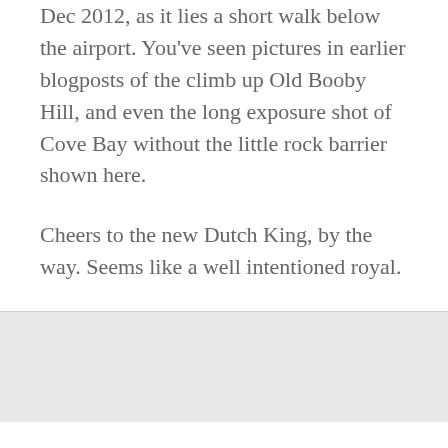Dec 2012, as it lies a short walk below the airport. You've seen pictures in earlier blogposts of the climb up Old Booby Hill, and even the long exposure shot of Cove Bay without the little rock barrier shown here.
Cheers to the new Dutch King, by the way. Seems like a well intentioned royal.
Living At Risk Is Jumping